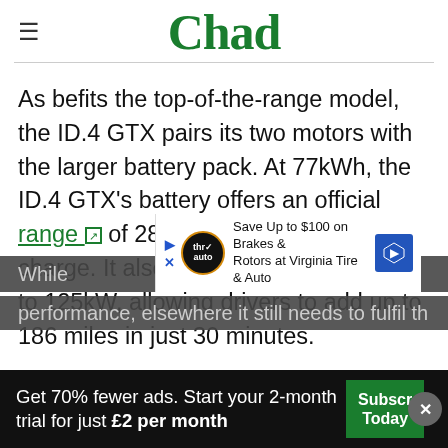Chad
As befits the top-of-the-range model, the ID.4 GTX pairs its two motors with the larger battery pack. At 77kWh, the ID.4 GTX's battery offers an official range of 288 miles on a single charge. It also accepts charging at up to 125kW, allowing drivers to add up to 186 miles in just 30 minutes.
While [ad overlay] ID.4's performance, elsewhere it still needs to fulfil th
Get 70% fewer ads. Start your 2-month trial for just £2 per month
[Figure (infographic): Advertisement banner: Save Up to $100 on Brakes & Rotors at Virginia Tire & Auto]